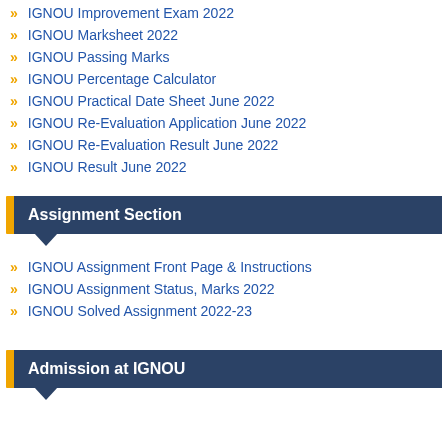IGNOU Improvement Exam 2022
IGNOU Marksheet 2022
IGNOU Passing Marks
IGNOU Percentage Calculator
IGNOU Practical Date Sheet June 2022
IGNOU Re-Evaluation Application June 2022
IGNOU Re-Evaluation Result June 2022
IGNOU Result June 2022
Assignment Section
IGNOU Assignment Front Page & Instructions
IGNOU Assignment Status, Marks 2022
IGNOU Solved Assignment 2022-23
Admission at IGNOU